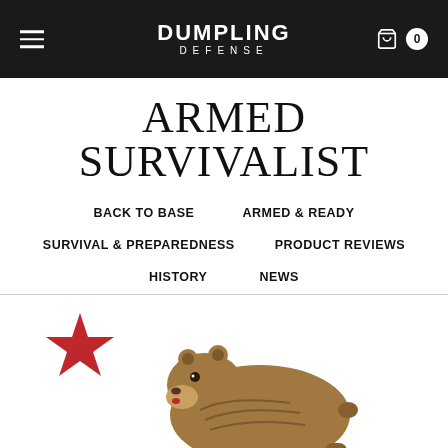DUMPLING DEFENSE
ARMED SURVIVALIST
BACK TO BASE
ARMED & READY
SURVIVAL & PREPAREDNESS
PRODUCT REVIEWS
HISTORY
NEWS
[Figure (illustration): California Republic bear and red star illustration — a grizzly bear walking left with a red five-pointed star to its upper left, partial view cropped at bottom of page]